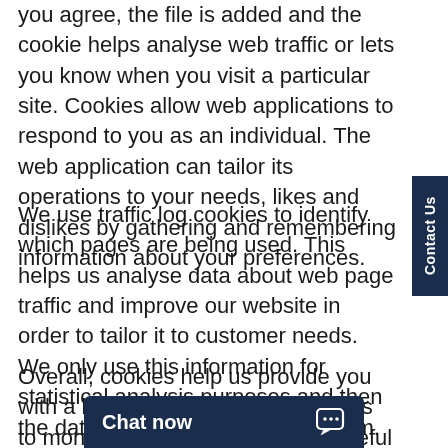you agree, the file is added and the cookie helps analyse web traffic or lets you know when you visit a particular site. Cookies allow web applications to respond to you as an individual. The web application can tailor its operations to your needs, likes and dislikes by gathering and remembering information about your preferences.
We use traffic log cookies to identify which pages are being used. This helps us analyse data about web page traffic and improve our website in order to tailor it to customer needs. We only use this information for statistical analysis purposes and then the data is removed from the system.
Overall, cookies help us provide you with a better website, by enabling us to monitor which pages you find useful and which you do not. A cookie in no way gives us ac...